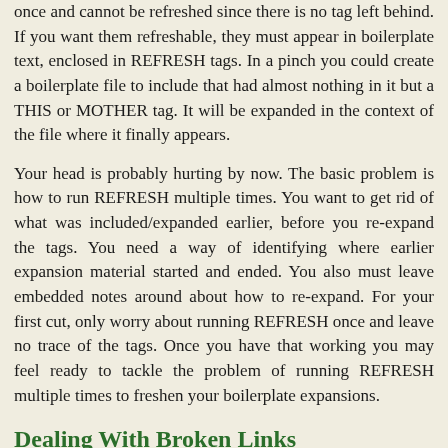once and cannot be refreshed since there is no tag left behind. If you want them refreshable, they must appear in boilerplate text, enclosed in REFRESH tags. In a pinch you could create a boilerplate file to include that had almost nothing in it but a THIS or MOTHER tag. It will be expanded in the context of the file where it finally appears.
Your head is probably hurting by now. The basic problem is how to run REFRESH multiple times. You want to get rid of what was included/expanded earlier, before you re-expand the tags. You need a way of identifying where earlier expansion material started and ended. You also must leave embedded notes around about how to re-expand. For your first cut, only worry about running REFRESH once and leave no trace of the tags. Once you have that working you may feel ready to tackle the problem of running REFRESH multiple times to freshen your boilerplate expansions.
Dealing With Broken Links
The process generates a global script for Funduc Search and Replace. You run this script and it fixes all the <a href="FILE#NAME">...</a> references, not only in the files you have just split, but in other related files that used to refer to spots in your old giant mother document. If you left out this step, the dangling links would all just take you to the